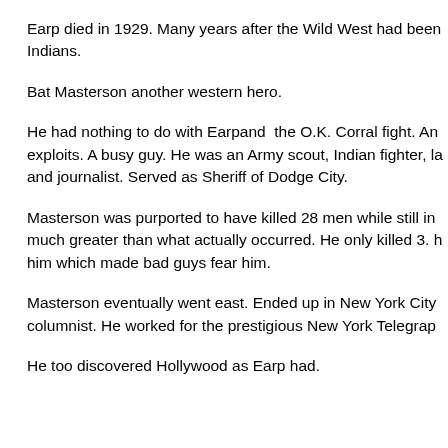Earp died in 1929. Many years after the Wild West had been tamed by the Indians.
Bat Masterson another western hero.
He had nothing to do with Earpand the O.K. Corral fight. And had his own exploits. A busy guy. He was an Army scout, Indian fighter, la and journalist. Served as Sheriff of Dodge City.
Masterson was purported to have killed 28 men while still in much greater than what actually occurred. He only killed 3. him which made bad guys fear him.
Masterson eventually went east. Ended up in New York City columnist. He worked for the prestigious New York Telegrap
He too discovered Hollywood as Earp had.